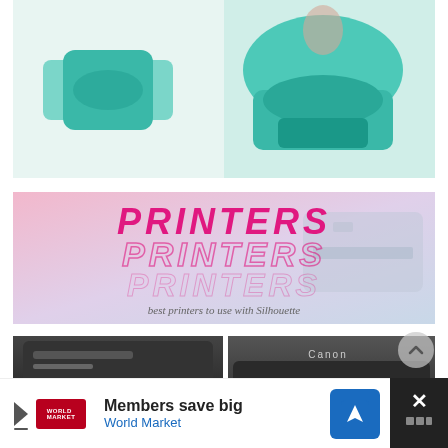[Figure (photo): Photo of teal/turquoise Silhouette crafting machine tools on a white surface]
[Figure (infographic): Pink and purple gradient banner with text: PRINTERS PRINTERS PRINTERS (layered solid and outline), subtitle: best printers to use with Silhouette, with printer image in background]
[Figure (photo): Photo of inkjet printer printing colorful sticker labels, labeled INK JET in pink bold text]
[Figure (photo): Photo of Canon wide format printer printing black and white sticker designs, labeled WIDE FORMAT in pink bold text]
Members save big
World Market